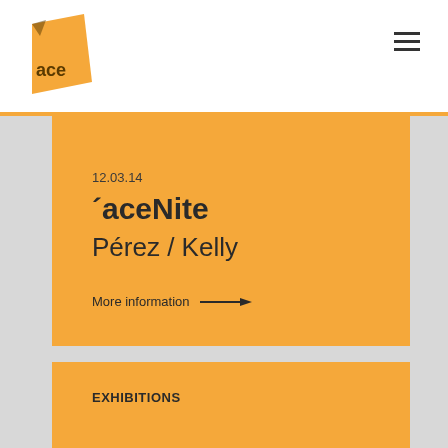[Figure (logo): ACE logo — orange geometric shape with 'ace' text in lowercase]
12.03.14
´aceNite
Pérez / Kelly
More information →
EXHIBITIONS